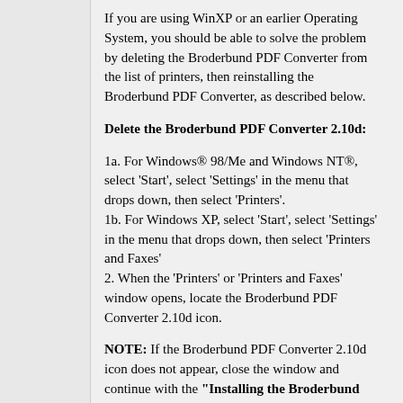If you are using WinXP or an earlier Operating System, you should be able to solve the problem by deleting the Broderbund PDF Converter from the list of printers, then reinstalling the Broderbund PDF Converter, as described below.
Delete the Broderbund PDF Converter 2.10d:
1a. For Windows® 98/Me and Windows NT®, select 'Start', select 'Settings' in the menu that drops down, then select 'Printers'.
1b. For Windows XP, select 'Start', select 'Settings' in the menu that drops down, then select 'Printers and Faxes'
2. When the 'Printers' or 'Printers and Faxes' window opens, locate the Broderbund PDF Converter 2.10d icon.
NOTE: If the Broderbund PDF Converter 2.10d icon does not appear, close the window and continue with the "Installing the Broderbund PDF Converter" procedure below.
3. Right-click on that Broderbund PDF Converter 2.10d icon, then select 'Delete' from